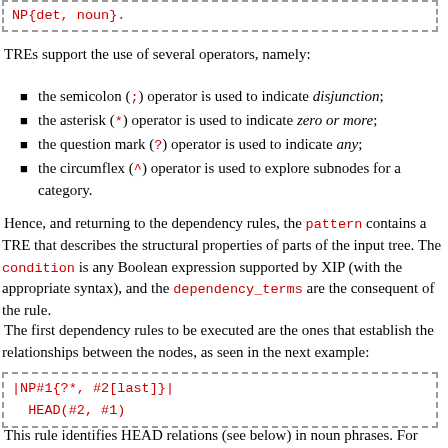[Figure (other): Code box showing: NP{det, noun}.]
TREs support the use of several operators, namely:
the semicolon (;) operator is used to indicate disjunction;
the asterisk (*) operator is used to indicate zero or more;
the question mark (?) operator is used to indicate any;
the circumflex (^) operator is used to explore subnodes for a category.
Hence, and returning to the dependency rules, the pattern contains a TRE that describes the structural properties of parts of the input tree. The condition is any Boolean expression supported by XIP (with the appropriate syntax), and the dependency_terms are the consequent of the rule.
The first dependency rules to be executed are the ones that establish the relationships between the nodes, as seen in the next example:
[Figure (other): Code box showing: |NP#1{?*, #2[last]}|  HEAD(#2, #1)]
This rule identifies HEAD relations (see below) in noun phrases. For example, in the NP a bela rapariga (the beautiful girl) the rule